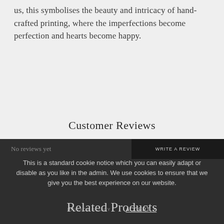us, this symbolises the beauty and intricacy of hand-crafted printing, where the imperfections become perfection and hearts become happy.
Customer Reviews
No reviews yet
WRITE A REVIEW
This is a standard cookie notice which you can easily adapt or disable as you like in the admin. We use cookies to ensure that we give you the best experience on our website.
PRIVACY POLICY   ACCEPT ✓
Related Products